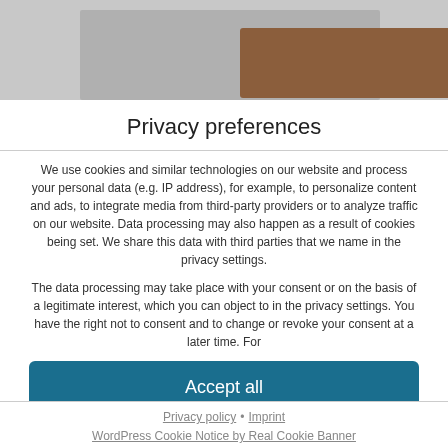[Figure (photo): Blurred background image of a website with a brownish rectangular element visible at the top]
Privacy preferences
We use cookies and similar technologies on our website and process your personal data (e.g. IP address), for example, to personalize content and ads, to integrate media from third-party providers or to analyze traffic on our website. Data processing may also happen as a result of cookies being set. We share this data with third parties that we name in the privacy settings.
The data processing may take place with your consent or on the basis of a legitimate interest, which you can object to in the privacy settings. You have the right not to consent and to change or revoke your consent at a later time. For
Accept all
Continue without consent
Set privacy settings individually
Privacy policy • Imprint
WordPress Cookie Notice by Real Cookie Banner